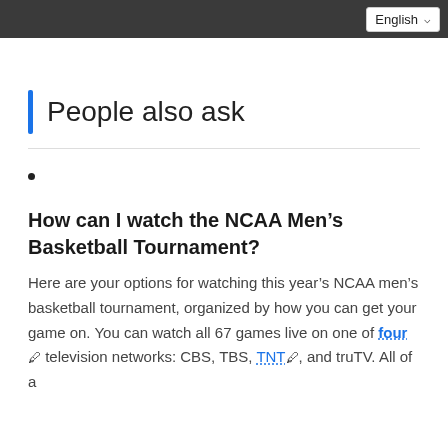English
People also ask
•
How can I watch the NCAA Men's Basketball Tournament?
Here are your options for watching this year's NCAA men's basketball tournament, organized by how you can get your game on. You can watch all 67 games live on one of four television networks: CBS, TBS, TNT, and truTV. All of a